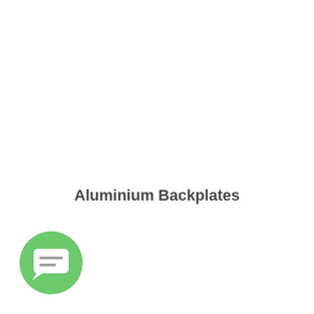Aluminium Backplates
[Figure (illustration): Green circular chat/message bubble icon with white speech bubble containing two horizontal lines, positioned in lower-left area of page]